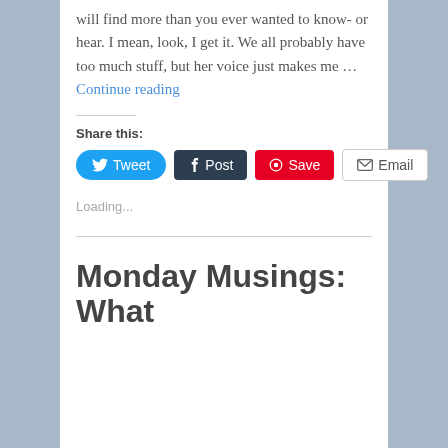will find more than you ever wanted to know- or hear. I mean, look, I get it. We all probably have too much stuff, but her voice just makes me … Continue reading
Share this:
[Figure (infographic): Social share buttons: Tweet (Twitter/blue), Post (Tumblr/dark), Save (Pinterest/red), Email (grey outline)]
Loading...
Monday Musings: What